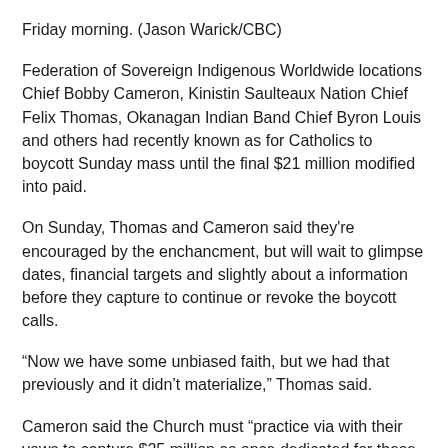Friday morning. (Jason Warick/CBC)
Federation of Sovereign Indigenous Worldwide locations Chief Bobby Cameron, Kinistin Saulteaux Nation Chief Felix Thomas, Okanagan Indian Band Chief Byron Louis and others had recently known as for Catholics to boycott Sunday mass until the final $21 million modified into paid.
On Sunday, Thomas and Cameron said they're encouraged by the enchancment, but will wait to glimpse dates, financial targets and slightly about a information before they capture to continue or revoke the boycott calls.
“Now we have some unbiased faith, but we had that previously and it didn’t materialize,” Thomas said.
Cameron said the Church must “practice via with their vows to capture $25 million as once dedicated for these survivors and their descendants.”